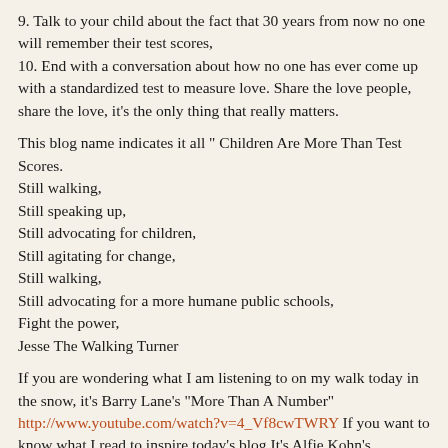9. Talk to your child about the fact that 30 years from now no one will remember their test scores,
10. End with a conversation about how no one has ever come up with a standardized test to measure love. Share the love people, share the love, it's the only thing that really matters.
This blog name indicates it all " Children Are More Than Test Scores.
Still walking,
Still speaking up,
Still advocating for children,
Still agitating for change,
Still walking,
Still advocating for a more humane public schools,
Fight the power,
Jesse The Walking Turner
If you are wondering what I am listening to on my walk today in the snow, it's Barry Lane's "More Than A Number" http://www.youtube.com/watch?v=4_Vf8cwTWRY If you want to know what I read to inspire today's blog It's Alfie Kohn's Education Week article.